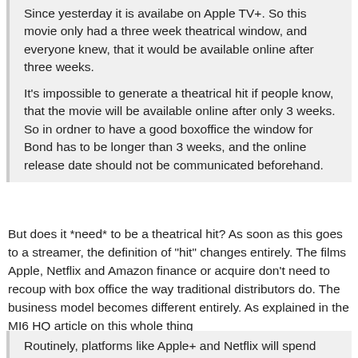Since yesterday it is availabe on Apple TV+. So this movie only had a three week theatrical window, and everyone knew, that it would be available online after three weeks.

It's impossible to generate a theatrical hit if people know, that the movie will be available online after only 3 weeks. So in ordner to have a good boxoffice the window for Bond has to be longer than 3 weeks, and the online release date should not be communicated beforehand.
But does it *need* to be a theatrical hit? As soon as this goes to a streamer, the definition of "hit" changes entirely. The films Apple, Netflix and Amazon finance or acquire don't need to recoup with box office the way traditional distributors do. The business model becomes different entirely. As explained in the MI6 HQ article on this whole thing
Routinely, platforms like Apple+ and Netflix will spend more on marketing to acquire a new customer than